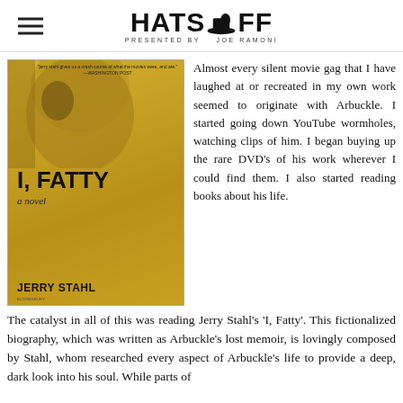HATS OFF — Presented by Joe Ramoni
[Figure (photo): Book cover of 'I, Fatty — a novel' by Jerry Stahl. Yellow/gold background with a close-up face and bold black text.]
Almost every silent movie gag that I have laughed at or recreated in my own work seemed to originate with Arbuckle. I started going down YouTube wormholes, watching clips of him. I began buying up the rare DVD's of his work wherever I could find them. I also started reading books about his life. The catalyst in all of this was reading Jerry Stahl's 'I, Fatty'. This fictionalized biography, which was written as Arbuckle's lost memoir, is lovingly composed by Stahl, whom researched every aspect of Arbuckle's life to provide a deep, dark look into his soul. While parts of